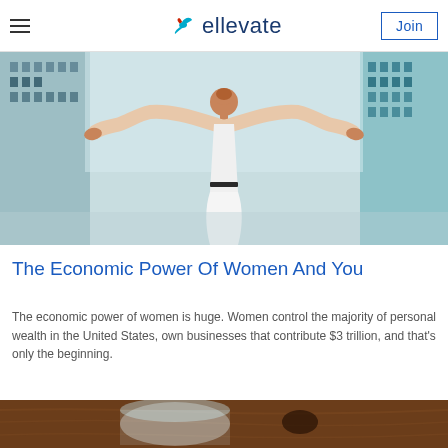ellevate — navigation header with hamburger menu and Join button
[Figure (photo): Woman in white dress with arms outstretched against a city building background, viewed from behind]
The Economic Power Of Women And You
The economic power of women is huge. Women control the majority of personal wealth in the United States, own businesses that contribute $3 trillion, and that's only the beginning.
[Figure (photo): Partial view of a glass on a wooden table surface]